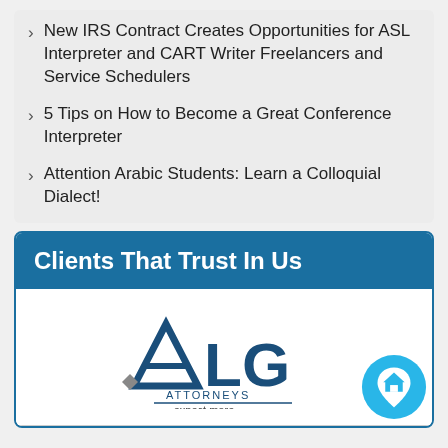New IRS Contract Creates Opportunities for ASL Interpreter and CART Writer Freelancers and Service Schedulers
5 Tips on How to Become a Great Conference Interpreter
Attention Arabic Students: Learn a Colloquial Dialect!
Clients That Trust In Us
[Figure (logo): ALG Attorneys - expect more logo]